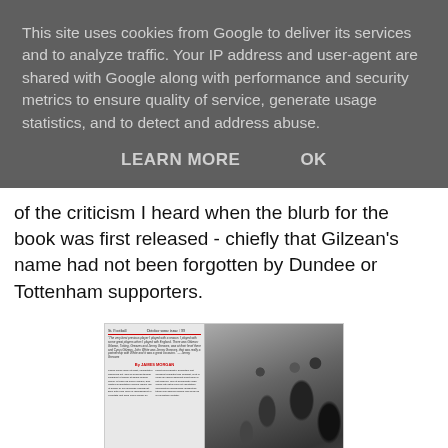This site uses cookies from Google to deliver its services and to analyze traffic. Your IP address and user-agent are shared with Google along with performance and security metrics to ensure quality of service, generate usage statistics, and to detect and address abuse.
LEARN MORE    OK
of the criticism I heard when the blurb for the book was first released - chiefly that Gilzean's name had not been forgotten by Dundee or Tottenham supporters.
[Figure (photo): A scanned newspaper/magazine article page showing a column of text on the left with a red horizontal rule and byline 'By JAMES MORGAN', alongside a black-and-white photograph of a crowd of people.]